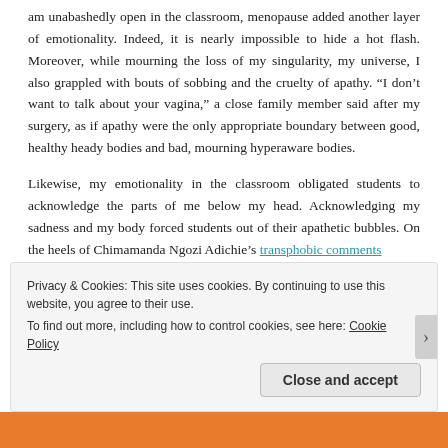am unabashedly open in the classroom, menopause added another layer of emotionality. Indeed, it is nearly impossible to hide a hot flash. Moreover, while mourning the loss of my singularity, my universe, I also grappled with bouts of sobbing and the cruelty of apathy. “I don’t want to talk about your vagina,” a close family member said after my surgery, as if apathy were the only appropriate boundary between good, healthy heady bodies and bad, mourning hyperaware bodies.
Likewise, my emotionality in the classroom obligated students to acknowledge the parts of me below my head. Acknowledging my sadness and my body forced students out of their apathetic bubbles. On the heels of Chimamanda Ngozi Adichie’s transphobic comments
Privacy & Cookies: This site uses cookies. By continuing to use this website, you agree to their use.
To find out more, including how to control cookies, see here: Cookie Policy